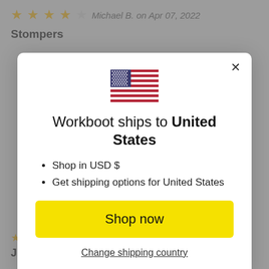Michael B. on Apr 07, 2022
Stompers
[Figure (screenshot): Modal dialog showing US flag, text 'Workboot ships to United States', bullet points: 'Shop in USD $' and 'Get shipping options for United States', a yellow 'Shop now' button, and a 'Change shipping country' link. Close X button in top right corner.]
Ellen. on Mar 14, 2021
Just received